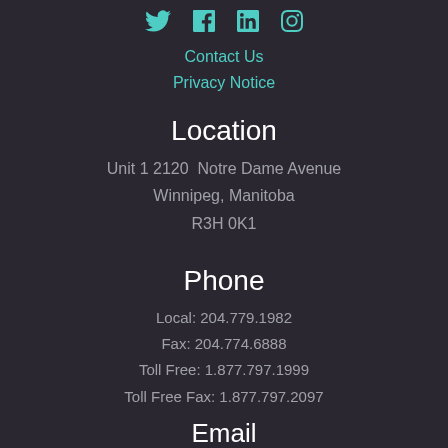[Figure (illustration): Social media icons: Twitter, Facebook, LinkedIn, Instagram in teal color]
Contact Us
Privacy Notice
Location
Unit 1 2120  Notre Dame Avenue
Winnipeg, Manitoba
R3H 0K1
Phone
Local: 204.779.1982
Fax: 204.774.6888
Toll Free: 1.877.797.1999
Toll Free Fax: 1.877.797.2097
Email